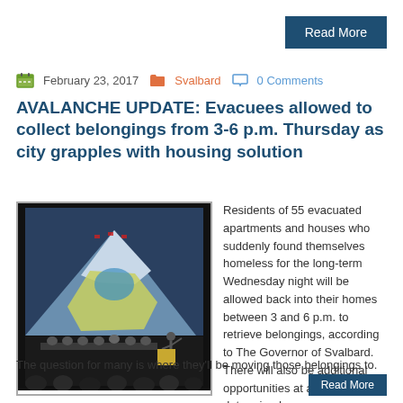Read More
February 23, 2017   Svalbard   0 Comments
AVALANCHE UPDATE: Evacuees allowed to collect belongings from 3-6 p.m. Thursday as city grapples with housing solution
[Figure (photo): A town hall meeting with a projected avalanche risk map showing a mountain with colored zones; panelists seated at a table with audience in foreground]
Residents of 55 evacuated apartments and houses who suddenly found themselves homeless for the long-term Wednesday night will be allowed back into their homes between 3 and 6 p.m. to retrieve belongings, according to The Governor of Svalbard. There will also be additional opportunities at a time to be determined.
The question for many is where they'll be moving those belongings to.